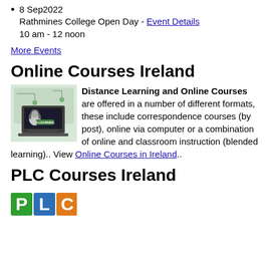8 Sep2022
Rathmines College Open Day - Event Details
10 am - 12 noon
More Events
Online Courses Ireland
[Figure (illustration): E-learning illustration showing a laptop with a head/brain graphic and headphones, with green circuit/network graphics in background. Text 'E-LEARNING' on the laptop screen.]
Distance Learning and Online Courses are offered in a number of different formats, these include correspondence courses (by post), online via computer or a combination of online and classroom instruction (blended learning).. View Online Courses in Ireland..
PLC Courses Ireland
[Figure (logo): PLC logo with green P, blue L, and orange C letters in colored squares.]